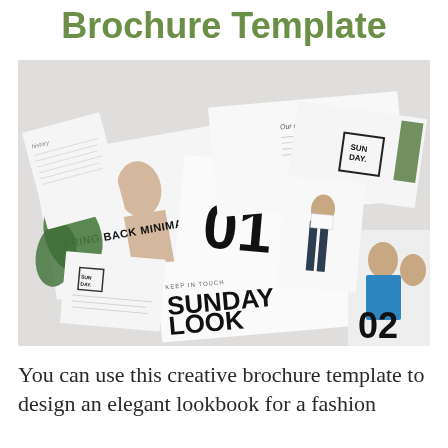Brochure Template
[Figure (photo): A flat-lay photo of multiple minimalist fashion brochure/lookbook pages spread out on a white surface. Pages show fashion models, large typography including 'BRING BACK MINIMALIST.', 'SUNDAY LOOK...', 'KEEP IN TOUCH', page numbers '01' and '02', a 'SUNDAY' brand logo in a box, and green plant elements.]
You can use this creative brochure template to design an elegant lookbook for a fashion